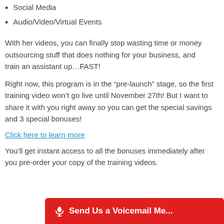Social Media
Audio/Video/Virtual Events
With her videos, you can finally stop wasting time or money outsourcing stuff that does nothing for your business, and train an assistant up…FAST!
Right now, this program is in the “pre-launch” stage, so the first training video won’t go live until November 27th! But I want to share it with you right away so you can get the special savings and 3 special bonuses!
Click here to learn more
You’ll get instant access to all the bonuses immediately after you pre-order your copy of the training videos.
[Figure (other): Red voicemail button bar at bottom: microphone icon and text 'Send Us a Voicemail Me...']